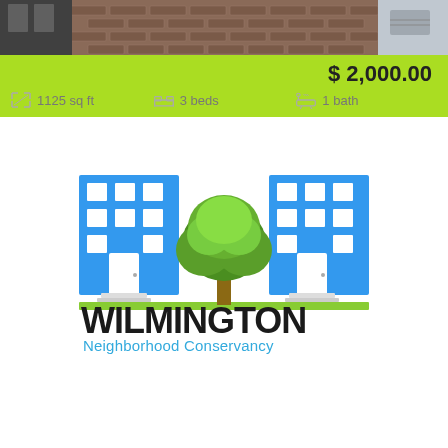[Figure (photo): Partial view of a brick building exterior, top strip photo]
$ 2,000.00
1125 sq ft   3 beds   1 bath
[Figure (logo): Wilmington Neighborhood Conservancy Land Bank logo with two blue buildings and a green tree]